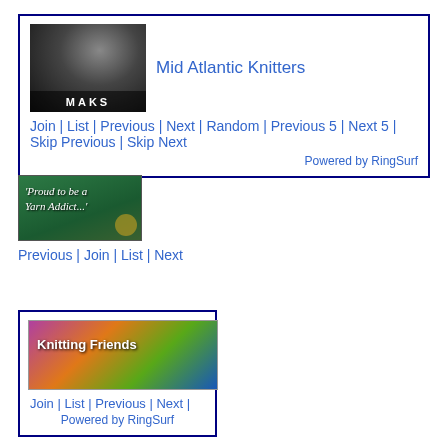[Figure (other): MAKS banner with hands knitting, black and white photo with MAKS text overlay]
Mid Atlantic Knitters
Join | List | Previous | Next | Random | Previous 5 | Next 5 | Skip Previous | Skip Next
Powered by RingSurf
[Figure (other): Green banner reading 'Proud to be a Yarn Addict']
Previous | Join | List | Next
[Figure (other): Knitting Friends banner with colorful yarn balls]
Join | List | Previous | Next |
Powered by RingSurf